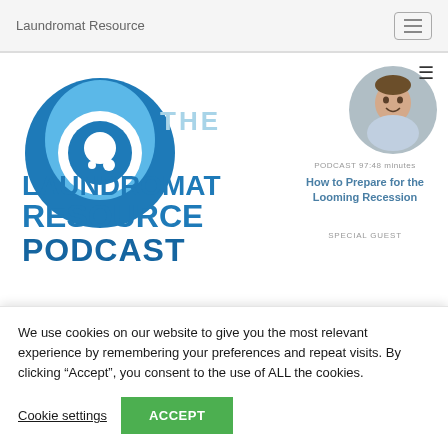Laundromat Resource
[Figure (logo): Laundromat Resource Podcast logo with blue circle/droplet icon and bold blue text reading THE LAUNDROMAT RESOURCE PODCAST]
[Figure (photo): Circular portrait photo of a smiling man]
PODCAST 97:48 minutes
How to Prepare for the Looming Recession
SPECIAL GUEST
We use cookies on our website to give you the most relevant experience by remembering your preferences and repeat visits. By clicking “Accept”, you consent to the use of ALL the cookies.
Cookie settings
ACCEPT